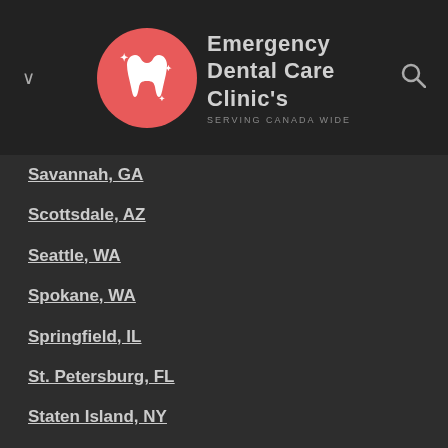[Figure (logo): Emergency Dental Care Clinic's logo with red circle containing a white tooth icon and sparkles, with text 'Emergency Dental Care Clinic's' and 'SERVING CANADA WIDE']
Savannah, GA
Scottsdale, AZ
Seattle, WA
Spokane, WA
Springfield, IL
St. Petersburg, FL
Staten Island, NY
Sterling Heights, MI Stockton, CA
Sunrise, FL
Syracuse, NY
Tacoma, WA
Tallahassee, FL
Tampa, FL
Tempe, AZ
Thornton, CO